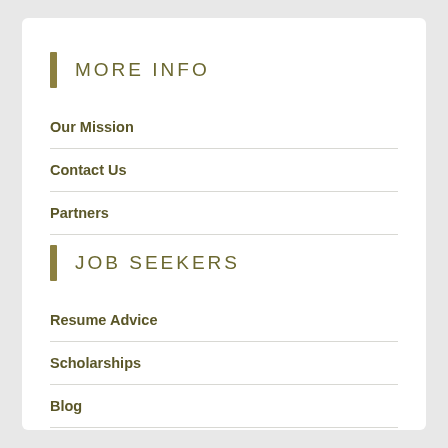MORE INFO
Our Mission
Contact Us
Partners
JOB SEEKERS
Resume Advice
Scholarships
Blog
EMPLOYERS
Post Jobs
Pricing